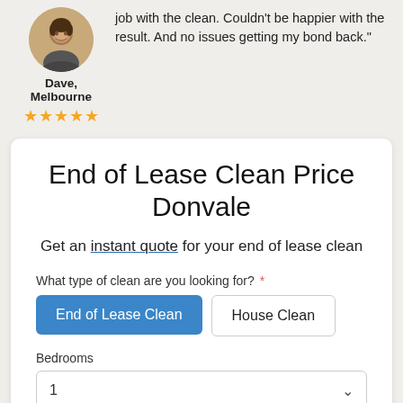job with the clean. Couldn't be happier with the result. And no issues getting my bond back."
[Figure (photo): Circular avatar photo of a man smiling]
Dave, Melbourne
★★★★★
End of Lease Clean Price Donvale
Get an instant quote for your end of lease clean
What type of clean are you looking for? *
End of Lease Clean
House Clean
Bedrooms
1